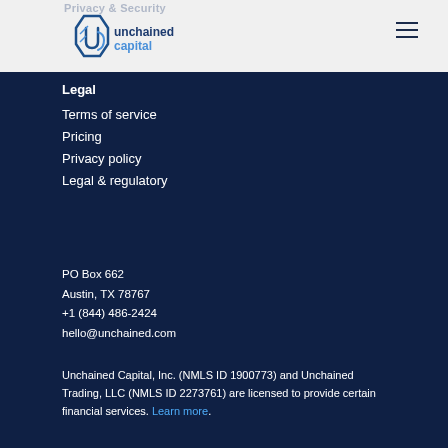Privacy & Security
[Figure (logo): Unchained Capital logo with stylized UC icon and text 'unchained capital']
Legal
Terms of service
Pricing
Privacy policy
Legal & regulatory
PO Box 662
Austin, TX 78767
+1 (844) 486-2424
hello@unchained.com
Unchained Capital, Inc. (NMLS ID 1900773) and Unchained Trading, LLC (NMLS ID 2273761) are licensed to provide certain financial services. Learn more.